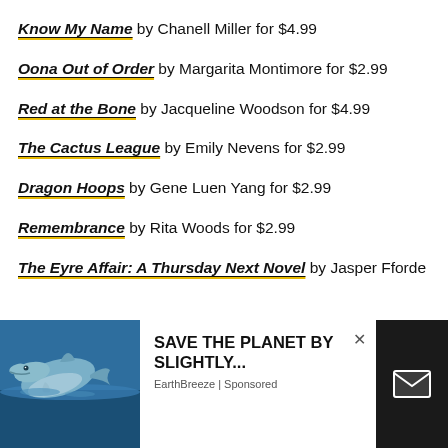Know My Name by Chanell Miller for $4.99
Oona Out of Order by Margarita Montimore for $2.99
Red at the Bone by Jacqueline Woodson for $4.99
The Cactus League by Emily Nevens for $2.99
Dragon Hoops by Gene Luen Yang for $2.99
Remembrance by Rita Woods for $2.99
The Eyre Affair: A Thursday Next Novel by Jasper Fforde
[Figure (screenshot): Advertisement overlay: dolphin photo on left, 'SAVE THE PLANET BY SLIGHTLY...' ad text from EarthBreeze (Sponsored) in middle, dark panel with envelope icon on right, with close X button]